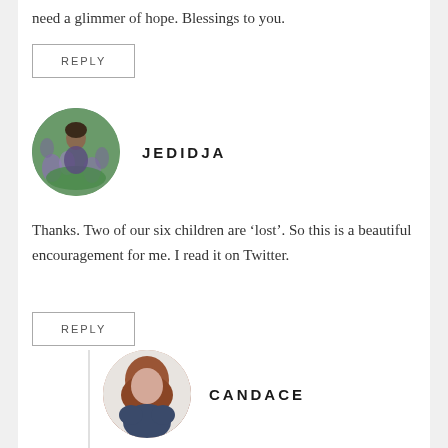need a glimmer of hope. Blessings to you.
REPLY
JEDIDJA
Thanks. Two of our six children are ‘lost’. So this is a beautiful encouragement for me. I read it on Twitter.
REPLY
CANDACE